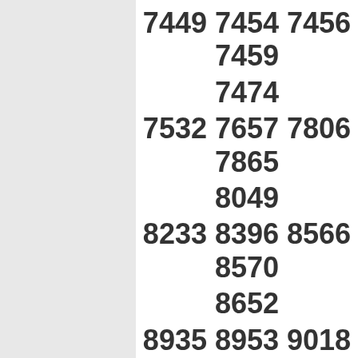7449 7454 7456 7459
7474
7532 7657 7806 7865
8049
8233 8396 8566 8570
8652
8935 8953 9018 9061
9149
9377 9482 9489 9491
9509